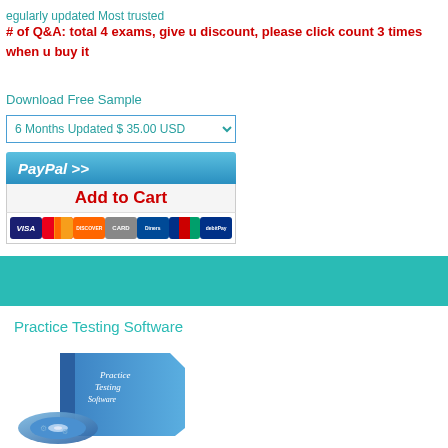regularly updated Most trusted
# of Q&A: total 4 exams, give u discount, please click count 3 times when u buy it
Download Free Sample
6 Months Updated $ 35.00 USD
[Figure (other): PayPal Add to Cart button with credit card icons (Visa, Mastercard, Discover, and others)]
[Figure (other): Teal/cyan horizontal banner strip]
Practice Testing Software
[Figure (illustration): Practice Testing Software box with CD disc illustration]